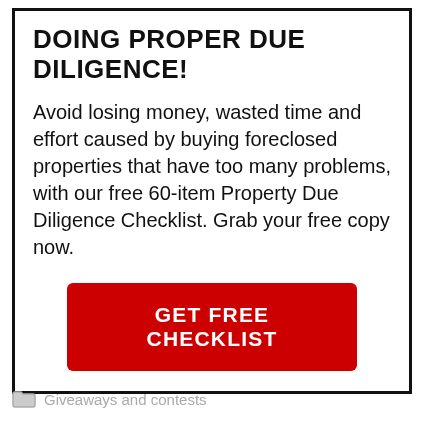DOING PROPER DUE DILIGENCE!
Avoid losing money, wasted time and effort caused by buying foreclosed properties that have too many problems, with our free 60-item Property Due Diligence Checklist. Grab your free copy now.
[Figure (infographic): Red button with white bold text reading GET FREE CHECKLIST]
[Figure (infographic): Green share button with plus icon and SHARE label]
Giveaways and contests